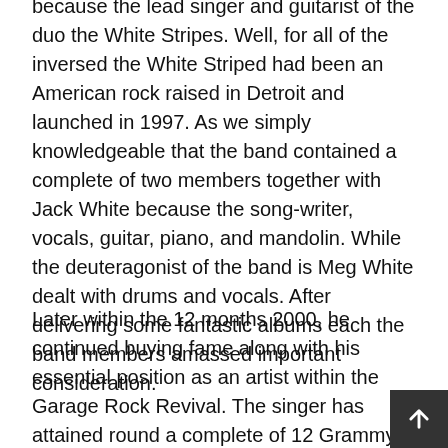because the lead singer and guitarist of the duo the White Stripes. Well, for all of the inversed the White Striped had been an American rock raised in Detroit and launched in 1997. As we simply knowledgeable that the band contained a complete of two members together with Jack White because the song-writer, vocals, guitar, piano, and mandolin. While the deuteragonist of the band is Meg White dealt with drums and vocals. After delivering some fantastic albums each the band members amassed important consideration.
Later within the 12 months 2000, he continued buying fame along with his essential position as an artist within the Garage Rock Revival. The singer has attained round a complete of 12 Grammy Awards thought of a large success for the artist. Some of his solo albums broke and registered a number of information and earned the top-most rank on the Billboard charts. Another notable platform Rolling Stone ranked him 70 within the listing of The 100 Greatest Guitarists of All Time. However, within the second listing launched in the identical 12